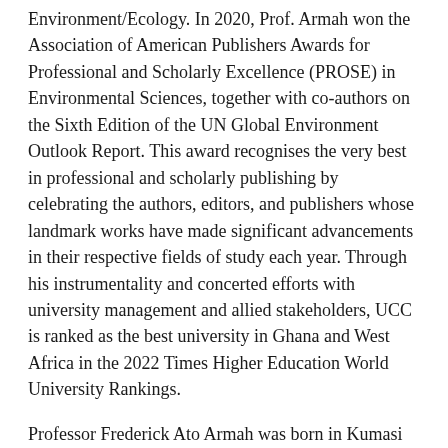Environment/Ecology. In 2020, Prof. Armah won the Association of American Publishers Awards for Professional and Scholarly Excellence (PROSE) in Environmental Sciences, together with co-authors on the Sixth Edition of the UN Global Environment Outlook Report. This award recognises the very best in professional and scholarly publishing by celebrating the authors, editors, and publishers whose landmark works have made significant advancements in their respective fields of study each year. Through his instrumentality and concerted efforts with university management and allied stakeholders, UCC is ranked as the best university in Ghana and West Africa in the 2022 Times Higher Education World University Rankings.
Professor Frederick Ato Armah was born in Kumasi on 3rd November 1973. His primary education was oscillatory owing to the fact that his dad, an engineer